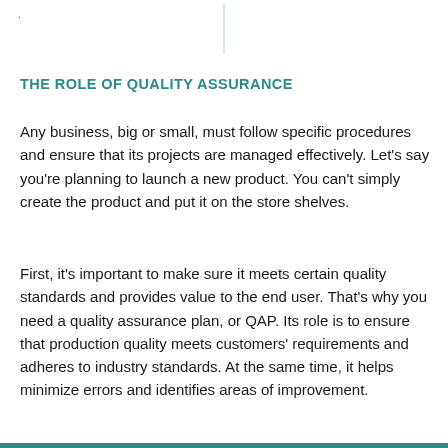THE ROLE OF QUALITY ASSURANCE
Any business, big or small, must follow specific procedures and ensure that its projects are managed effectively. Let's say you're planning to launch a new product. You can't simply create the product and put it on the store shelves.
First, it's important to make sure it meets certain quality standards and provides value to the end user. That's why you need a quality assurance plan, or QAP. Its role is to ensure that production quality meets customers' requirements and adheres to industry standards. At the same time, it helps minimize errors and identifies areas of improvement.